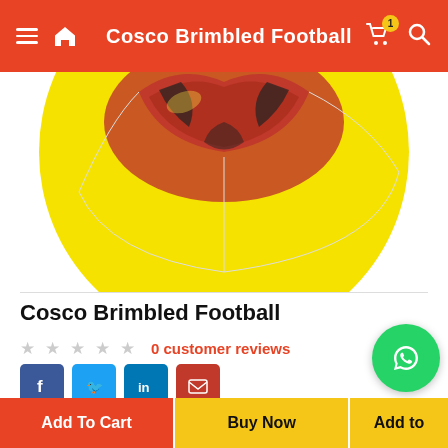Cosco Brimbled Football
[Figure (photo): Yellow and red Cosco Brimbled Football product image, partially cropped showing top portion of ball]
Cosco Brimbled Football
0 customer reviews
Social share buttons: Facebook, Twitter, LinkedIn, Email
₹786.00
Add To Cart | Buy Now | Add to